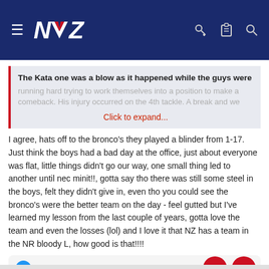NVZ forum navigation bar
The Kata one was a blow as it happened while the guys were running hard trying to work themselves into a position to make a comeback. His injury occurred on the 4th tackle. A break and we
Click to expand...
I agree, hats off to the bronco's they played a blinder from 1-17. Just think the boys had a bad day at the office, just about everyone was flat, little things didn't go our way, one small thing led to another until nec minit!!, gotta say tho there was still some steel in the boys, felt they didn't give in, even tho you could see the bronco's were the better team on the day - feel gutted but I've learned my lesson from the last couple of years, gotta love the team and even the losses (lol) and I love it that NZ has a team in the NR bloody L, how good is that!!!!
Old Sid, snake77, Sup42 and 1 other person
Reply